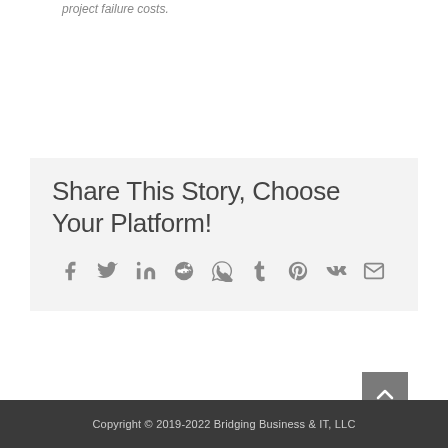project failure costs.
Share This Story, Choose Your Platform!
Social share icons: Facebook, Twitter, LinkedIn, Reddit, WhatsApp, Tumblr, Pinterest, Vk, Email
Copyright © 2019-2022 Bridging Business & IT, LLC